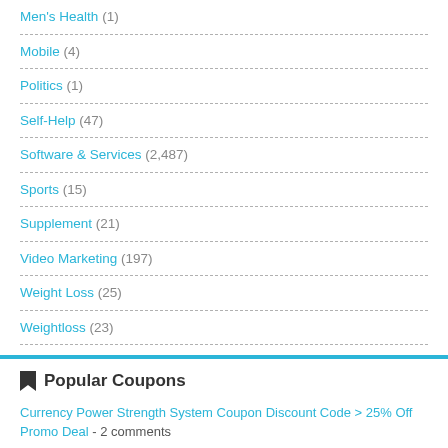Men's Health (1)
Mobile (4)
Politics (1)
Self-Help (47)
Software & Services (2,487)
Sports (15)
Supplement (21)
Video Marketing (197)
Weight Loss (25)
Weightloss (23)
Popular Coupons
Currency Power Strength System Coupon Discount Code > 25% Off Promo Deal - 2 comments
[50% OFF] Intelligynce Coupon Code (Verified) - 1 comment
[97% OFF] Sqribble Coupon Code - 1 comment